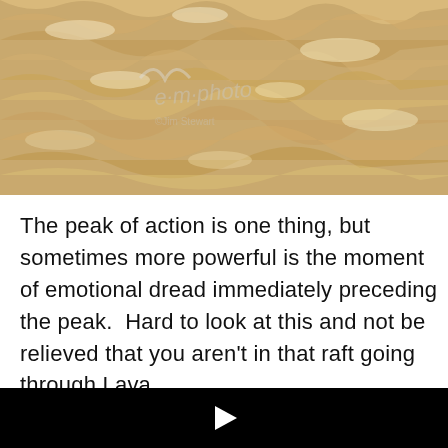[Figure (photo): Churning, turbulent muddy brown floodwater rapids filling the frame, with a watermark logo visible in the center-left area of the image.]
The peak of action is one thing, but sometimes more powerful is the moment of emotional dread immediately preceding the peak.  Hard to look at this and not be relieved that you aren't in that raft going through Lava
[Figure (screenshot): A black video player panel with a white play button triangle in the center.]